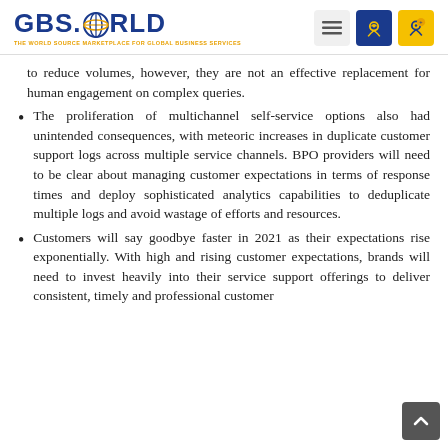GBS.WORLD — THE WORLD SOURCE MARKETPLACE FOR GLOBAL BUSINESS SERVICES
to reduce volumes, however, they are not an effective replacement for human engagement on complex queries.
The proliferation of multichannel self-service options also had unintended consequences, with meteoric increases in duplicate customer support logs across multiple service channels. BPO providers will need to be clear about managing customer expectations in terms of response times and deploy sophisticated analytics capabilities to deduplicate multiple logs and avoid wastage of efforts and resources.
Customers will say goodbye faster in 2021 as their expectations rise exponentially. With high and rising customer expectations, brands will need to invest heavily into their service support offerings to deliver consistent, timely and professional customer